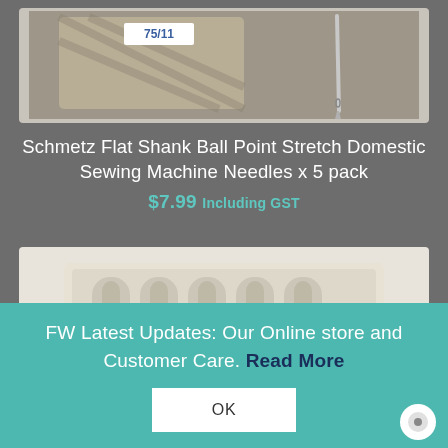[Figure (photo): A package of Schmetz sewing needles labeled 75/11 with a fabric background, and a single needle shown to the right]
Schmetz Flat Shank Ball Point Stretch Domestic Sewing Machine Needles x 5 pack
$7.99 Including GST
[Figure (photo): A plastic tray holding 5 sewing needles arranged side by side in beige/cream colored holder]
FW Latest Updates: Our Online store and Customer Care. Read More
OK